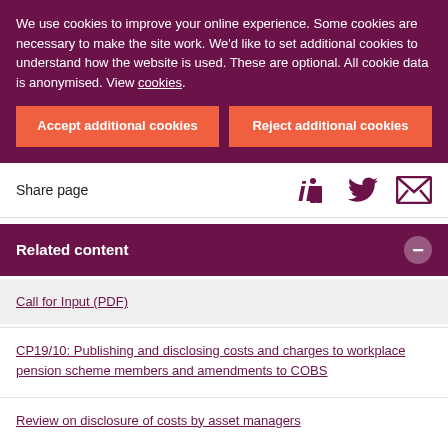We use cookies to improve your online experience. Some cookies are necessary to make the site work. We'd like to set additional cookies to understand how the website is used. These are optional. All cookie data is anonymised. View cookies.
Accept additional cookies
Reject additional cookies
Share page
Related content
Call for Input (PDF)
CP19/10: Publishing and disclosing costs and charges to workplace pension scheme members and amendments to COBS
Review on disclosure of costs by asset managers